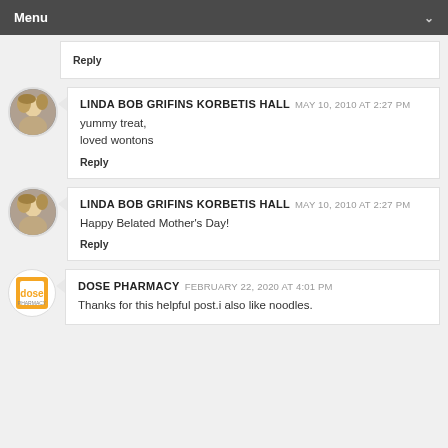Menu
Reply
LINDA BOB GRIFINS KORBETIS HALL  MAY 10, 2010 AT 2:27 PM
yummy treat,
loved wontons
Reply
LINDA BOB GRIFINS KORBETIS HALL  MAY 10, 2010 AT 2:27 PM
Happy Belated Mother's Day!
Reply
DOSE PHARMACY  FEBRUARY 22, 2020 AT 4:01 PM
Thanks for this helpful post.i also like noodles.